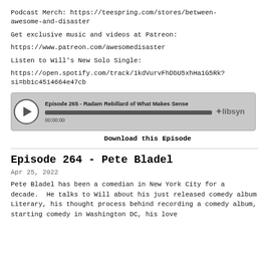Podcast Merch: https://teespring.com/stores/between-awesome-and-disaster
Get exclusive music and videos at Patreon:
https://www.patreon.com/awesomedisaster
Listen to Will's New Solo Single:
https://open.spotify.com/track/1kdVurvFhDbU5xhHa1G5Rk?si=bb1c4514664e47cb
[Figure (other): Podcast audio player widget showing Episode 265 - Radam Rebillard of What Makes Sense, with play button, progress bar at 00:00:00, and Libsyn logo]
Download this Episode
Episode 264 - Pete Bladel
Apr 25, 2022
Pete Bladel has been a comedian in New York City for a decade.  He talks to Will about his just released comedy album Literary, his thought process behind recording a comedy album, starting comedy in Washington DC, his love